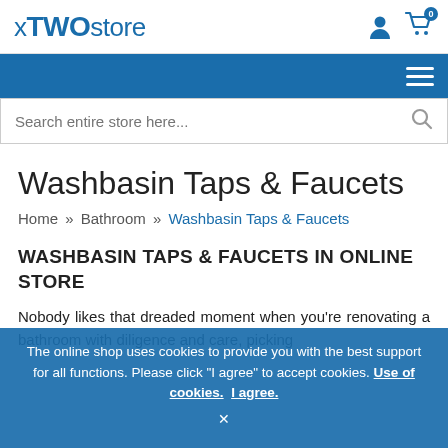xTWOstore
Search entire store here...
Washbasin Taps & Faucets
Home » Bathroom » Washbasin Taps & Faucets
WASHBASIN TAPS & FAUCETS IN ONLINE STORE
Nobody likes that dreaded moment when you're renovating a bathroom with diligence and care, picking
The online shop uses cookies to provide you with the best support for all functions. Please click "I agree" to accept cookies. Use of cookies. I agree.